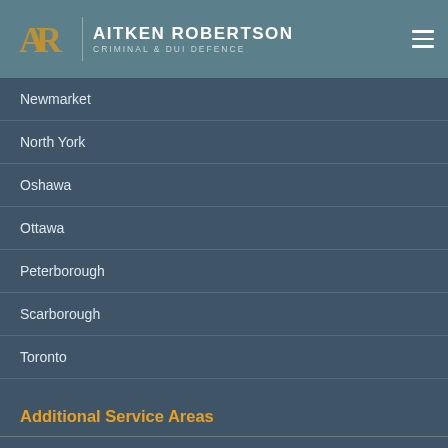AITKEN ROBERTSON | CRIMINAL & DUI DEFENCE
Newmarket
North York
Oshawa
Ottawa
Peterborough
Scarborough
Toronto
Additional Service Areas
Aurora
Bancroft